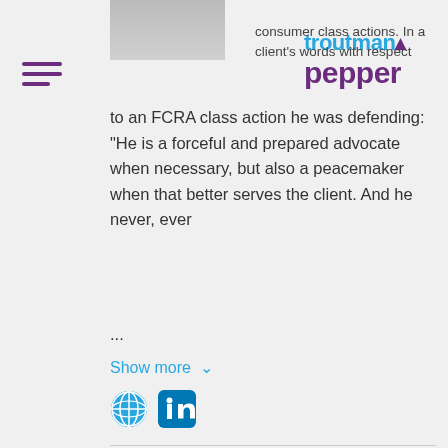[Figure (photo): Partial view of a person wearing a suit and tie, gray background]
[Figure (logo): Troutman Pepper law firm logo in blue and purple]
consumer class actions. In a client's words with respect to an FCRA class action he was defending: "He is a forceful and prepared advocate when necessary, but also a peacemaker when that better serves the client. And he never, ever ...
Show more
[Figure (other): Globe/website icon and LinkedIn icon]
[Figure (photo): David N. Anthony headshot - man with glasses and red tie]
David N. Anthony
David Anthony handles litigation against consumer financial services...